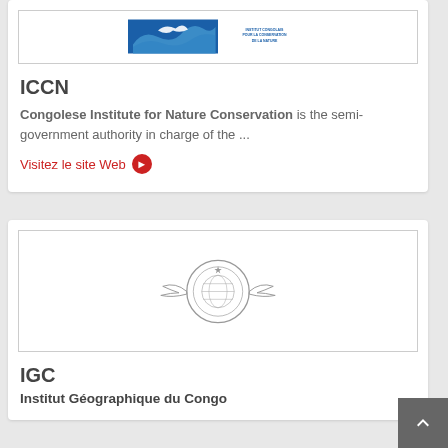[Figure (logo): ICCN logo - Institut Congolais pour la Conservation de la Nature, blue logo with bird and text]
ICCN
Congolese Institute for Nature Conservation is the semi-government authority in charge of the ...
Visitez le site Web ►
[Figure (logo): IGC logo - Institut Géographique du Congo, circular emblem with wings]
IGC
Institut Géographique du Congo